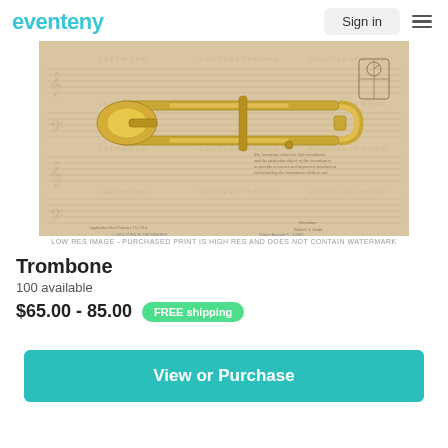eventeny
[Figure (illustration): Vintage patent-style illustration of a trombone overlaid on aged music staff paper with watermark text. Shows detailed line drawing of trombone with musical notation lines in background. Bottom text: '© 2013 JOHN M. PATTENDEN Patent Artwork™ - 13089']
LOW RES IMAGE - PURCHASED PRINT IS HIGH RES AND DOES NOT CONTAIN WATERMARK
Trombone
100 available
$65.00 - 85.00  FREE shipping
View or Purchase